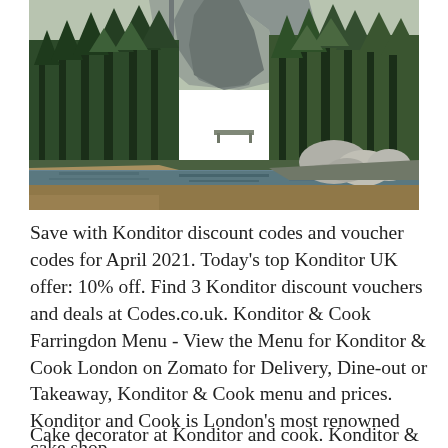[Figure (photo): Landscape photo of a mountain valley with tall conifer trees, large granite boulders, a calm reflective river or lake in the foreground, and a steep rocky mountain cliff in the background under an overcast sky — resembling Yosemite National Park.]
Save with Konditor discount codes and voucher codes for April 2021. Today's top Konditor UK offer: 10% off. Find 3 Konditor discount vouchers and deals at Codes.co.uk. Konditor & Cook Farringdon Menu - View the Menu for Konditor & Cook London on Zomato for Delivery, Dine-out or Takeaway, Konditor & Cook menu and prices. Konditor and Cook is London's most renowned cake shop.
Cake decorator at Konditor and cook. Konditor &